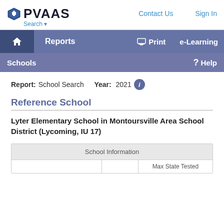PVAAS | Search | Contact Us | Sign In
Reports | Print | e-Learning | Schools | Help
Report: School Search   Year: 2021
Reference School
Lyter Elementary School in Montoursville Area School District (Lycoming, IU 17)
| School Information | Max State Tested |
| --- | --- |